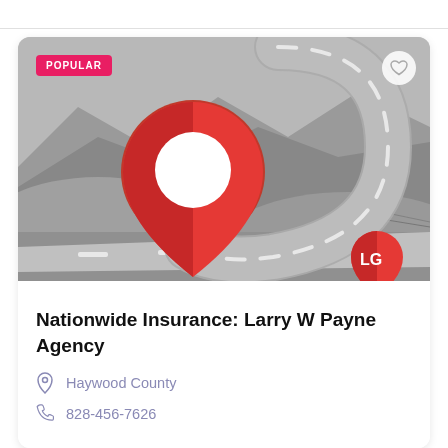[Figure (photo): Insurance agency listing card with a grayscale mountain road background image, a red map pin with white circle in the center, a gray curved road/J-shape graphic, a POPULAR badge in pink/red, a heart icon button, and a red map pin logo badge with 'LG' text at the bottom right of the image.]
Nationwide Insurance: Larry W Payne Agency
Haywood County
828-456-7626